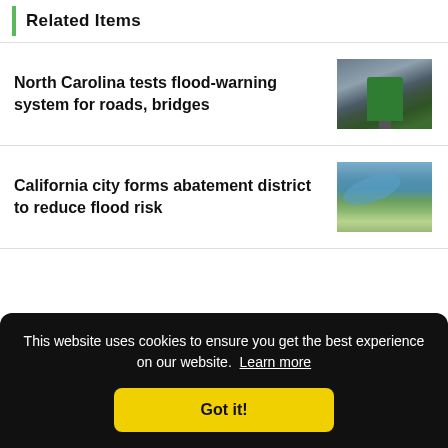Related Items
North Carolina tests flood-warning system for roads, bridges
[Figure (photo): Aerial or ground-level photo of a road sign in stormy conditions]
California city forms abatement district to reduce flood risk
[Figure (photo): Aerial photo of a river and city/town area]
This website uses cookies to ensure you get the best experience on our website.  Learn more
Got it!